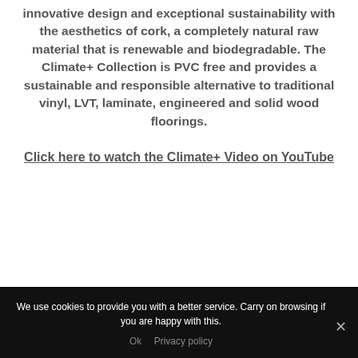innovative design and exceptional sustainability with the aesthetics of cork, a completely natural raw material that is renewable and biodegradable. The Climate+ Collection is PVC free and provides a sustainable and responsible alternative to traditional vinyl, LVT, laminate, engineered and solid wood floorings.
Click here to watch the Climate+ Video on YouTube
We use cookies to provide you with a better service. Carry on browsing if you are happy with this.
Ok   Privacy policy